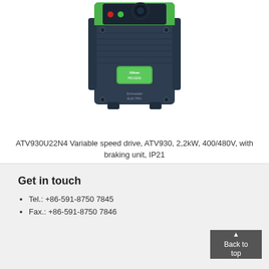[Figure (photo): Schneider Electric Altivar Process ATV930 variable speed drive unit, dark navy/slate color with green accents, showing the front panel with Altivar Process branding label and Schneider Electric logo]
ATV930U22N4 Variable speed drive, ATV930, 2,2kW, 400/480V, with braking unit, IP21
Get in touch
Tel.: +86-591-8750 7845
Fax.: +86-591-8750 7846